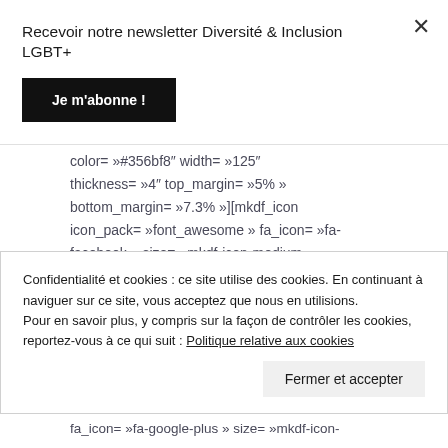Recevoir notre newsletter Diversité & Inclusion LGBT+
Je m'abonne !
color= »#356bf8″ width= »125″ thickness= »4″ top_margin= »5% » bottom_margin= »7.3% »][mkdf_icon icon_pack= »font_awesome » fa_icon= »fa-facebook » size= »mkdf-icon-medium » type= »mkdf-circle » target= »_blank » shape_size= »34″ icon_color= »#ffffff » border_color= »#356bf8″ background_color= »#356bf8″
Confidentialité et cookies : ce site utilise des cookies. En continuant à naviguer sur ce site, vous acceptez que nous en utilisions. Pour en savoir plus, y compris sur la façon de contrôler les cookies, reportez-vous à ce qui suit : Politique relative aux cookies
Fermer et accepter
fa_icon= »fa-google-plus » size= »mkdf-icon-